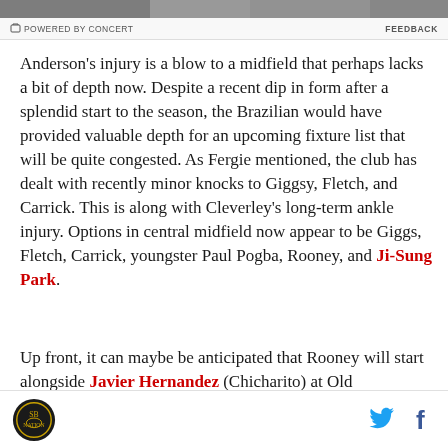POWERED BY CONCERT   FEEDBACK
[Figure (photo): Partial image strip at top of page showing people in dark clothing]
Anderson's injury is a blow to a midfield that perhaps lacks a bit of depth now. Despite a recent dip in form after a splendid start to the season, the Brazilian would have provided valuable depth for an upcoming fixture list that will be quite congested. As Fergie mentioned, the club has dealt with recently minor knocks to Giggsy, Fletch, and Carrick. This is along with Cleverley's long-term ankle injury. Options in central midfield now appear to be Giggs, Fletch, Carrick, youngster Paul Pogba, Rooney, and Ji-Sung Park.
Up front, it can maybe be anticipated that Rooney will start alongside Javier Hernandez (Chicharito) at Old
Logo | Twitter | Facebook